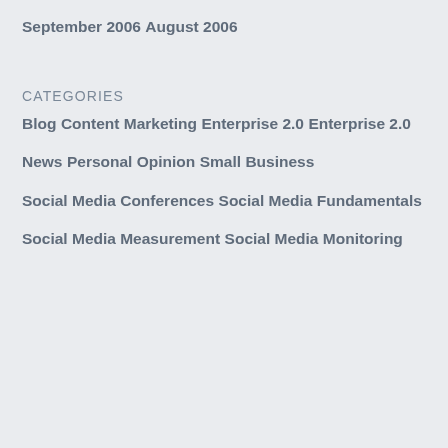September 2006
August 2006
CATEGORIES
Blog
Content Marketing
Enterprise 2.0
Enterprise 2.0
News
Personal Opinion
Small Business
Social Media Conferences
Social Media Fundamentals
Social Media Measurement
Social Media Monitoring